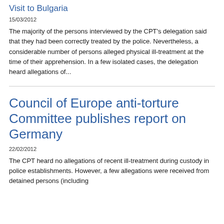Visit to Bulgaria
15/03/2012
The majority of the persons interviewed by the CPT's delegation said that they had been correctly treated by the police. Nevertheless, a considerable number of persons alleged physical ill-treatment at the time of their apprehension. In a few isolated cases, the delegation heard allegations of...
Council of Europe anti-torture Committee publishes report on Germany
22/02/2012
The CPT heard no allegations of recent ill-treatment during custody in police establishments. However, a few allegations were received from detained persons (including